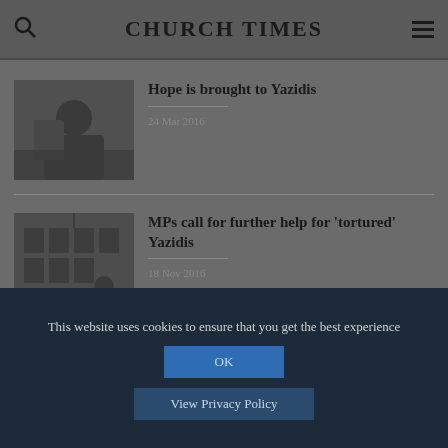CHURCH TIMES
[Figure (photo): Thumbnail photo showing people, dark toned]
Hope is brought to Yazidis
24 Mar 2016
[Figure (photo): Thumbnail photo showing interior room with people, dark toned]
MPs call for further help for 'tortured' Yazidis
18 Nov 2016
This website uses cookies to ensure that you get the best experience
OK
View Privacy Policy